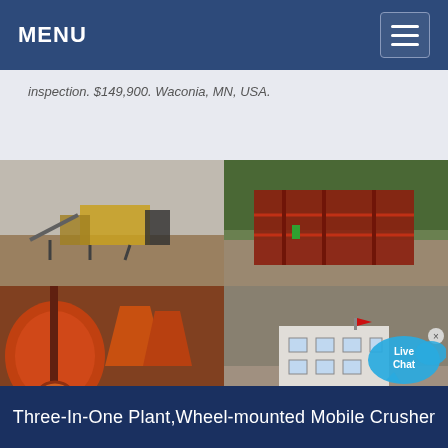MENU
inspection. $149,900. Waconia, MN, USA.
[Figure (photo): Four-photo grid showing industrial mining/crushing plant equipment: top-left shows a mobile crushing plant on flat terrain, top-right shows a large red metal framed crushing/screening structure on a hillside quarry, bottom-left shows orange-painted ball mills or rotary equipment up close, bottom-right shows a white multi-story building structure at a quarry/mine site.]
Three-In-One Plant,Wheel-mounted Mobile Crusher